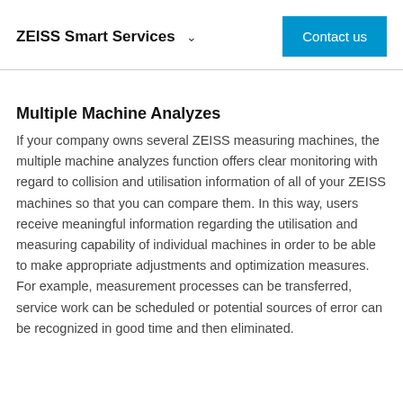ZEISS Smart Services  ∨   Contact us
Multiple Machine Analyzes
If your company owns several ZEISS measuring machines, the multiple machine analyzes function offers clear monitoring with regard to collision and utilisation information of all of your ZEISS machines so that you can compare them. In this way, users receive meaningful information regarding the utilisation and measuring capability of individual machines in order to be able to make appropriate adjustments and optimization measures. For example, measurement processes can be transferred, service work can be scheduled or potential sources of error can be recognized in good time and then eliminated.